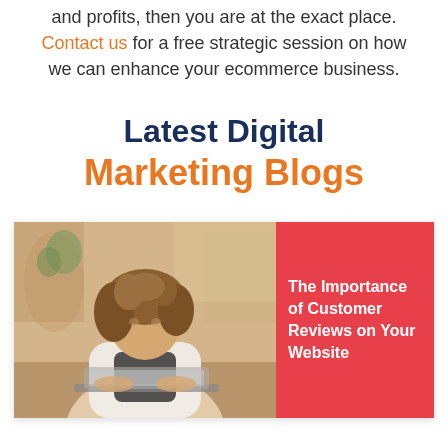and profits, then you are at the exact place. Contact us for a free strategic session on how we can enhance your ecommerce business.
Latest Digital Marketing Blogs
[Figure (photo): Blog card with photo of a woman with curly hair working on a laptop at a café table, with a red/pink background panel on the right containing the text 'The Importance of Customer Reviews on Your Website']